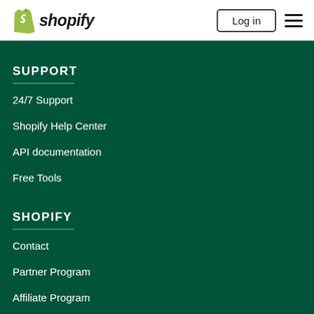[Figure (logo): Shopify logo with green shopping bag icon and 'shopify' wordmark in italic, navigation bar with Log in button and hamburger menu]
SUPPORT
24/7 Support
Shopify Help Center
API documentation
Free Tools
SHOPIFY
Contact
Partner Program
Affiliate Program
App Developers
Investors